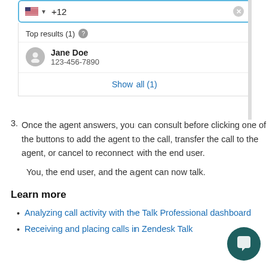[Figure (screenshot): Phone number search UI showing a search box with US flag and '+12' entered, 'Top results (1)' with Jane Doe (123-456-7890), and a 'Show all (1)' link]
3. Once the agent answers, you can consult before clicking one of the buttons to add the agent to the call, transfer the call to the agent, or cancel to reconnect with the end user.
You, the end user, and the agent can now talk.
Learn more
Analyzing call activity with the Talk Professional dashboard
Receiving and placing calls in Zendesk Talk